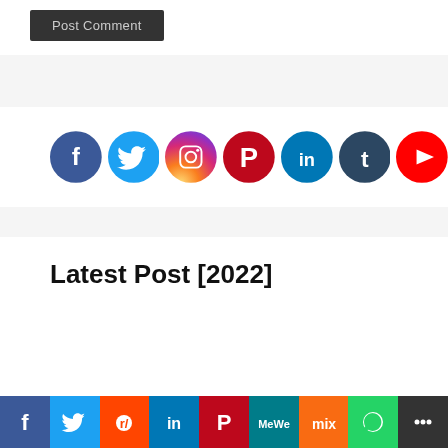Post Comment
[Figure (infographic): Row of 7 social media icon circles: Facebook (blue), Twitter (light blue), Instagram (gradient), Pinterest (red), LinkedIn (teal), Tumblr (dark blue), YouTube (red)]
Latest Post [2022]
[Figure (infographic): Social share bottom bar with icons: Facebook (blue), Twitter (blue), Reddit (orange), LinkedIn (blue), Pinterest (red), MeWe (teal), Mix (orange), WhatsApp (green), More/share (dark)]